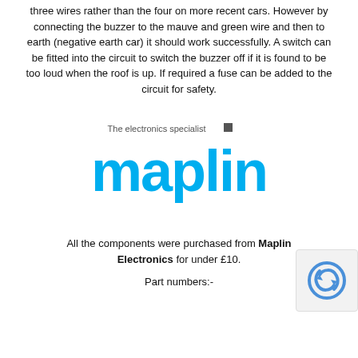three wires rather than the four on more recent cars. However by connecting the buzzer to the mauve and green wire and then to earth (negative earth car) it should work successfully. A switch can be fitted into the circuit to switch the buzzer off if it is found to be too loud when the roof is up. If required a fuse can be added to the circuit for safety.
[Figure (logo): Maplin Electronics logo — 'The electronics specialist' tagline above, 'maplin' in large cyan/blue lowercase letters with a small dark square icon]
All the components were purchased from Maplin Electronics for under £10.
Part numbers:-